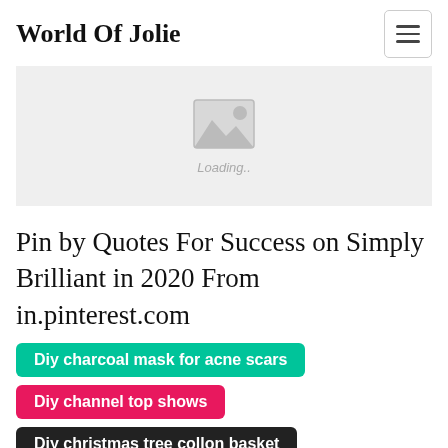World Of Jolie
[Figure (other): Image loading placeholder with mountain/photo icon and 'Loading..' text]
Pin by Quotes For Success on Simply Brilliant in 2020 From in.pinterest.com
Diy charcoal mask for acne scars
Diy channel top shows
Diy christmas tree collon basket